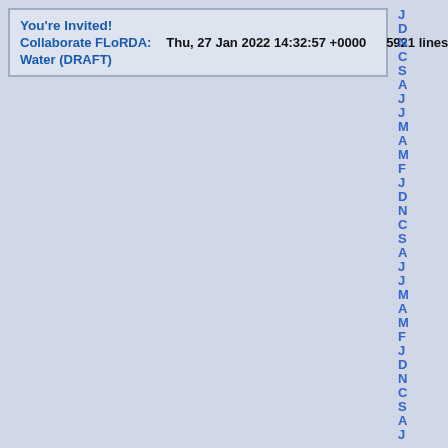You're Invited!
Collaborate FLoRDA:   Thu, 27 Jan 2022 14:32:57 +0000      5921 lines
Water (DRAFT)
J D N C S A J J M A M F J D M C S A J J M A M F J D M C S A J